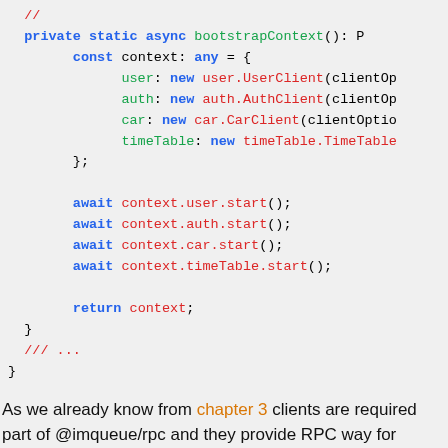[Figure (screenshot): TypeScript code block showing bootstrapContext() async static method with context object containing user, auth, car, timeTable clients, await calls, and return statement, followed by closing braces and /// ... comment]
As we already know from chapter 3 clients are required part of @imqueue/rpc and they provide RPC way for calling a remote services. In that chapter we learn how to use dynamically built clients. Now we will focus on building client code statically.
BUILDING THE CLIENTS